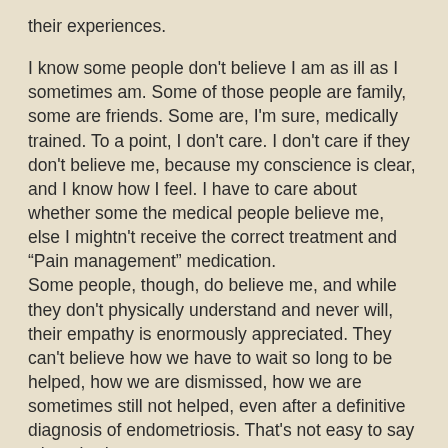their experiences.
I know some people don't believe I am as ill as I sometimes am. Some of those people are family, some are friends. Some are, I'm sure, medically trained. To a point, I don't care. I don't care if they don't believe me, because my conscience is clear, and I know how I feel. I have to care about whether some the medical people believe me, else I mightn't receive the correct treatment and “Pain management” medication.
Some people, though, do believe me, and while they don't physically understand and never will, their empathy is enormously appreciated. They can't believe how we have to wait so long to be helped, how we are dismissed, how we are sometimes still not helped, even after a definitive diagnosis of endometriosis. That's not easy to say when tired.
If you've found this blog while searching for endometriosis-related stuff (I am so eloquent), or if you're a reader already (thank-you!) or a new reader, you can, if you want to, help me. If you have endometriosis, for a long time or a little, and